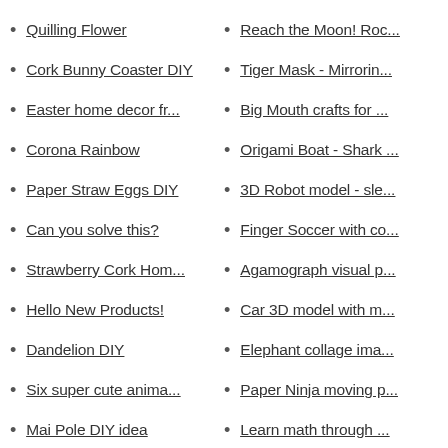Quilling Flower
Reach the Moon! Roc...
Cork Bunny Coaster DIY
Tiger Mask - Mirrorin...
Easter home decor fr...
Big Mouth crafts for ...
Corona Rainbow
Origami Boat - Shark ...
Paper Straw Eggs DIY
3D Robot model - sle...
Can you solve this?
Finger Soccer with co...
Strawberry Cork Hom...
Agamograph visual p...
Hello New Products!
Car 3D model with m...
Dandelion DIY
Elephant collage ima...
Six super cute anima...
Paper Ninja moving p...
Mai Pole DIY idea
Learn math through ...
FLOW coasters
Scary Halloween Pap...